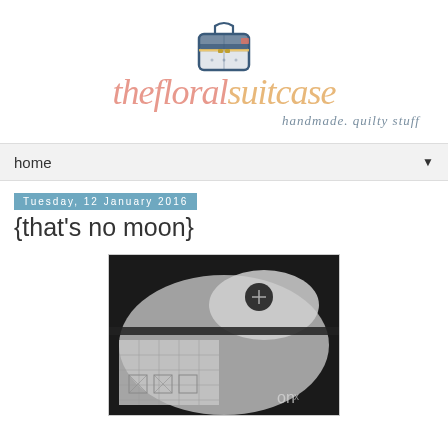[Figure (logo): The Floral Suitcase blog logo with a hand-drawn suitcase illustration and cursive text reading 'the floral suitcase' and tagline 'handmade. quilty stuff']
home ▼
Tuesday, 12 January 2016
{that's no moon}
[Figure (photo): Black and white photograph of quilted fabric items including what appears to be shoes or bags with geometric patterns]